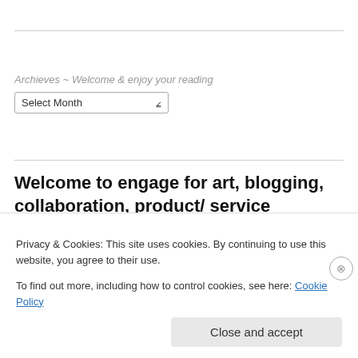Archieves ~ Welcome & enjoy your reading
Select Month
Welcome to engage for art, blogging, collaboration, product/ service reviews, event invitations etc.
siennylovesdrawing@outlook.com
Privacy & Cookies: This site uses cookies. By continuing to use this website, you agree to their use.
To find out more, including how to control cookies, see here: Cookie Policy
Close and accept